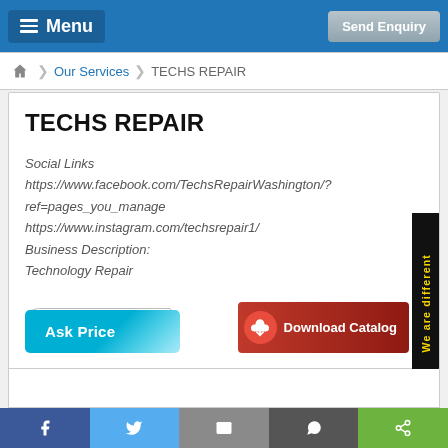Menu  |  Send Enquiry
Our Services > TECHS REPAIR
TECHS REPAIR
Social Links
https://www.facebook.com/TechsRepairWashington/?ref=pages_you_manage
https://www.instagram.com/techsrepair1/
Business Description:
Technology Repair
Phone & At Wiring
Ask Price
Download Catalog
We are different
f  |  Twitter  |  Email  |  WhatsApp  |  Share